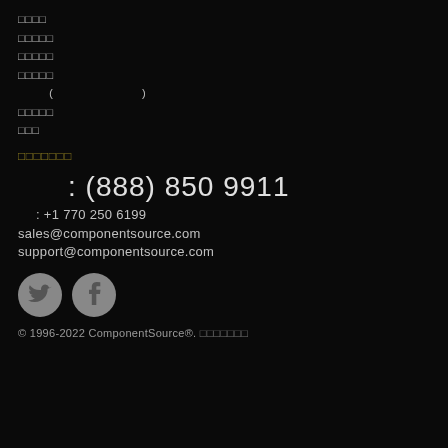□□□□
□□□□□
□□□□□
□□□□□
( )
□□□□□
□□□
□□□□□□□
□□□ : (888) 850 9911
□□ : +1 770 250 6199
sales@componentsource.com
support@componentsource.com
[Figure (logo): Twitter and Facebook social media icons (circular grey buttons)]
© 1996-2022 ComponentSource®. □□□□□□□